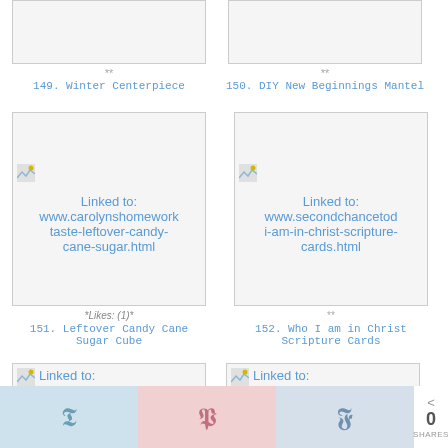[Figure (photo): Partially visible image card for item 149, top portion cut off]
**
149. Winter Centerpiece
[Figure (photo): Partially visible image card for item 150, top portion cut off]
**
150. DIY New Beginnings Mantel
[Figure (illustration): Linked image placeholder to www.carolynshomework taste-leftover-candy-cane-sugar.html]
*Likes: (1)*
151. Leftover Candy Cane Sugar Cube
[Figure (illustration): Linked image placeholder to www.secondchancetod i-am-in-christ-scripture-cards.html]
**
152. Who I am in Christ Scripture Cards
[Figure (illustration): Partially visible linked image card at bottom left]
[Figure (illustration): Partially visible linked image card at bottom right]
0 SHARES